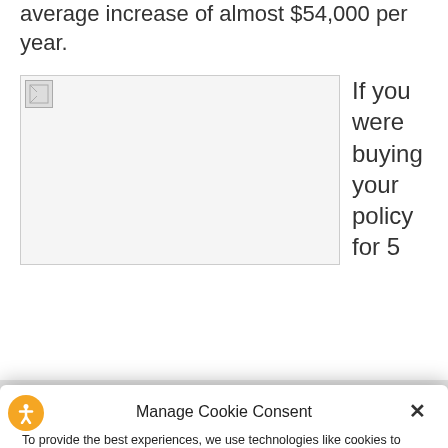average increase of almost $54,000 per year.
[Figure (photo): Placeholder image (broken image icon) with text to the right reading 'If you were buying your policy for 5']
If you were buying your policy for 5
Manage Cookie Consent
To provide the best experiences, we use technologies like cookies to store and/or access device information. Consenting to these technologies will allow us to process data such as browsing behavior or unique IDs on this site. Not consenting or withdrawing consent, may adversely affect certain features and functions.
Accept
Cookie Policy  Privacy Statement